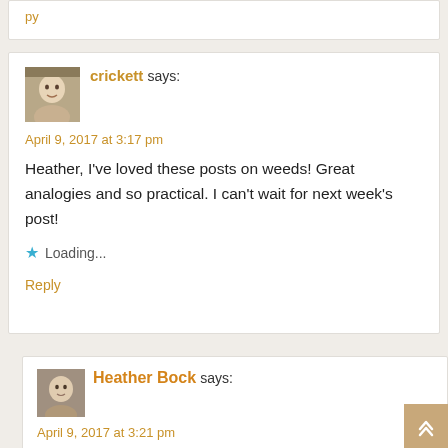py
crickett says:
April 9, 2017 at 3:17 pm
Heather, I've loved these posts on weeds! Great analogies and so practical. I can't wait for next week's post!
Loading...
Reply
Heather Bock says:
April 9, 2017 at 3:21 pm
Thank you! I THINK next week is the last one in the series!